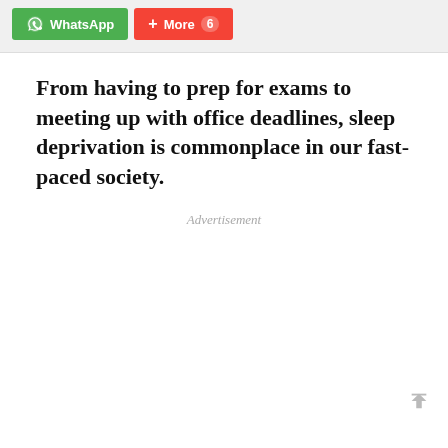[Figure (screenshot): Social share buttons: green WhatsApp button with WhatsApp icon and label, red More button with plus icon and number 6]
From having to prep for exams to meeting up with office deadlines, sleep deprivation is commonplace in our fast-paced society.
Advertisement